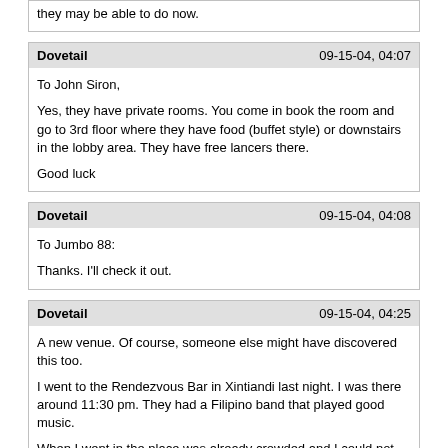they may be able to do now.
Dovetail	09-15-04, 04:07
To John Siron,

Yes, they have private rooms. You come in book the room and go to 3rd floor where they have food (buffet style) or downstairs in the lobby area. They have free lancers there.

Good luck
Dovetail	09-15-04, 04:08
To Jumbo 88:

Thanks. I'll check it out.
Dovetail	09-15-04, 04:25
A new venue. Of course, someone else might have discovered this too.

I went to the Rendezvous Bar in Xintiandi last night. I was there around 11:30 pm. They had a Filipino band that played good music.

When I went in the place was already crowded and I could not do any sightseeing since I went in with some people from the office. So we were inside enjoying the music and the drinks. When I went out to get some cigarettes (which they had the display at the bar, but the bar did not sell any) ... wow! That place was packed with girls. There must be at least 40 of them.

A girl grabbed me and we sat down toward the front. But I could barely talk to her due to language issue. Also, she was not very good looking, though aggressive. Then walked in two girls and one of them made eye contact with me and smiled. I excuse myself to go the bathroom and on the way back I